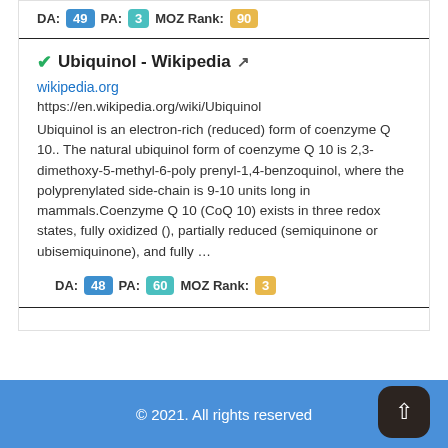DA: 49  PA: 3  MOZ Rank: 90
Ubiquinol - Wikipedia
wikipedia.org
https://en.wikipedia.org/wiki/Ubiquinol
Ubiquinol is an electron-rich (reduced) form of coenzyme Q 10.. The natural ubiquinol form of coenzyme Q 10 is 2,3-dimethoxy-5-methyl-6-poly prenyl-1,4-benzoquinol, where the polyprenylated side-chain is 9-10 units long in mammals.Coenzyme Q 10 (CoQ 10) exists in three redox states, fully oxidized (), partially reduced (semiquinone or ubisemiquinone), and fully …
DA: 48  PA: 60  MOZ Rank: 3
© 2021. All rights reserved